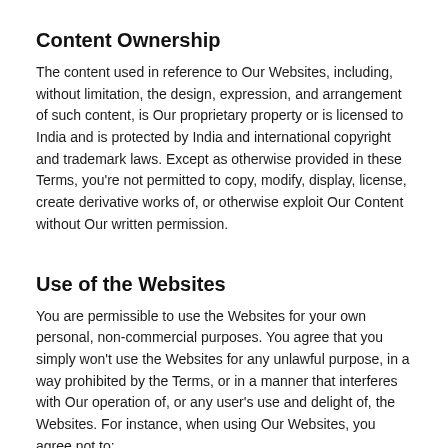Content Ownership
The content used in reference to Our Websites, including, without limitation, the design, expression, and arrangement of such content, is Our proprietary property or is licensed to India and is protected by India and international copyright and trademark laws. Except as otherwise provided in these Terms, you're not permitted to copy, modify, display, license, create derivative works of, or otherwise exploit Our Content without Our written permission.
Use of the Websites
You are permissible to use the Websites for your own personal, non-commercial purposes. You agree that you simply won't use the Websites for any unlawful purpose, in a way prohibited by the Terms, or in a manner that interferes with Our operation of, or any user's use and delight of, the Websites. For instance, when using Our Websites, you agree not to:
Use any hacking or cheating software or tools;